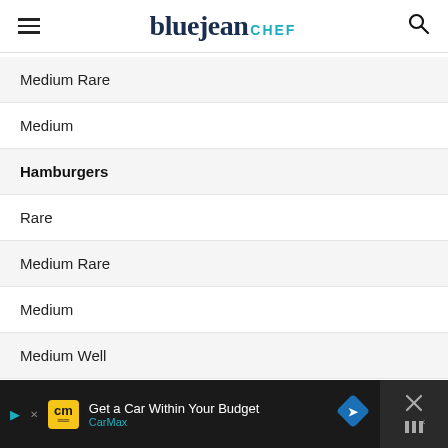bluejean CHEF
Medium Rare
Medium
Hamburgers
Rare
Medium Rare
Medium
Medium Well
Well
Veal Chop Bone-In